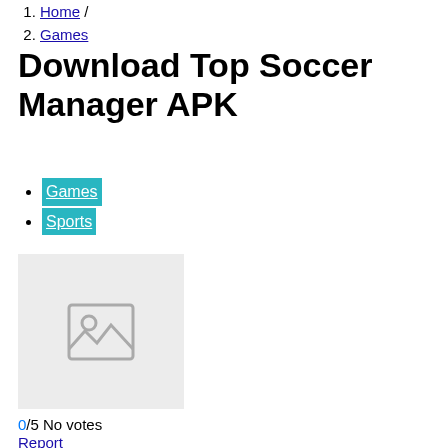Home /
Games
Download Top Soccer Manager APK
Games
Sports
[Figure (other): Placeholder image with mountain/photo icon on light grey background]
0/5 No votes
Report
Facebook
Twitter
Pinterest